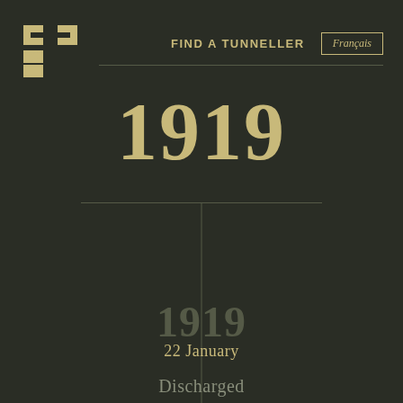[Figure (logo): CNZ organization logo — stylized square bracket shapes in gold/olive on dark background]
FIND A TUNNELLER   Français
1919
1919
22 January
Discharged